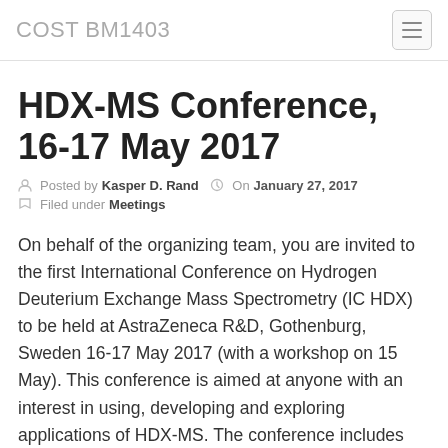COST BM1403
HDX-MS Conference, 16-17 May 2017
Posted by Kasper D. Rand  On January 27, 2017
Filed under Meetings
On behalf of the organizing team, you are invited to the first International Conference on Hydrogen Deuterium Exchange Mass Spectrometry (IC HDX) to be held at AstraZeneca R&D, Gothenburg, Sweden 16-17 May 2017 (with a workshop on 15 May). This conference is aimed at anyone with an interest in using, developing and exploring applications of HDX-MS. The conference includes oral and poster presentations